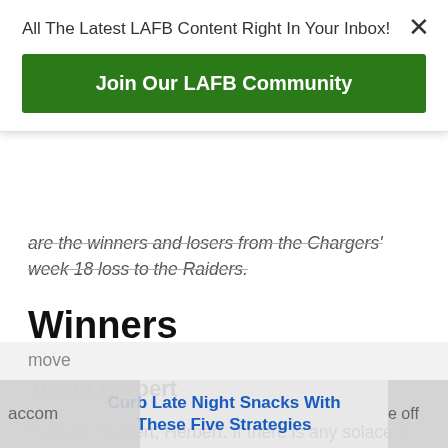All The Latest LAFB Content Right In Your Inbox!
Join Our LAFB Community
are the winners and losers from the Chargers' week 18 loss to the Raiders.
Winners
Justin Herbert
Herbert, Herbert, Herbert. If there is any solace to take from this season, it's that you have a top 5 quarterback in the NFL. Which is no small task to accomplish and move off
Curb Late Night Snacks With These Five Strategies